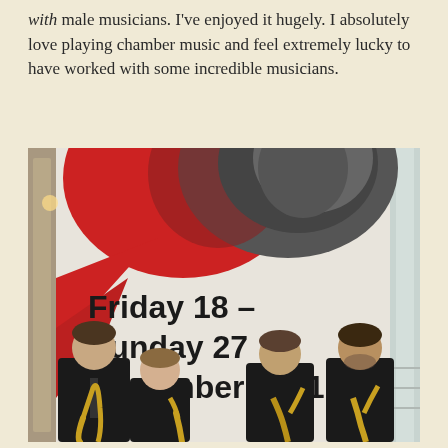with male musicians. I've enjoyed it hugely. I absolutely love playing chamber music and feel extremely lucky to have worked with some incredible musicians.
[Figure (photo): Four musicians in black clothing holding saxophones, standing in front of a large event banner reading 'Friday 18 – Sunday 27 November 2011'. The banner has a red and black circular graphic at the top.]